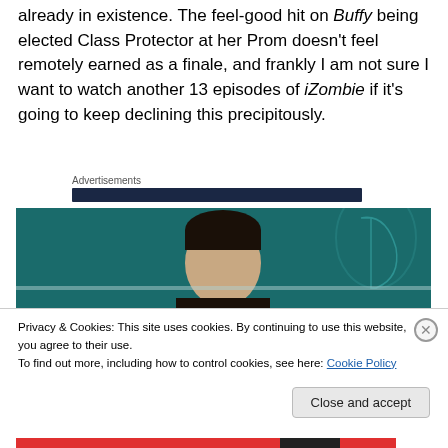already in existence. The feel-good hit on Buffy being elected Class Protector at her Prom doesn't feel remotely earned as a finale, and frankly I am not sure I want to watch another 13 episodes of iZombie if it's going to keep declining this precipitously.
Advertisements
[Figure (photo): Photo of a person at a podium with a teal/dark green background featuring a harp emblem]
Privacy & Cookies: This site uses cookies. By continuing to use this website, you agree to their use.
To find out more, including how to control cookies, see here: Cookie Policy
Close and accept